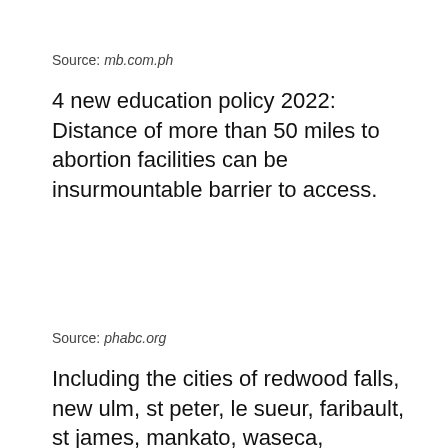Source: mb.com.ph
4 new education policy 2022: Distance of more than 50 miles to abortion facilities can be insurmountable barrier to access.
Source: phabc.org
Including the cities of redwood falls, new ulm, st peter, le sueur, faribault, st james, mankato, waseca, owatonna, fairmont, blue earth, and albert lea. 4 new education policy 2022: